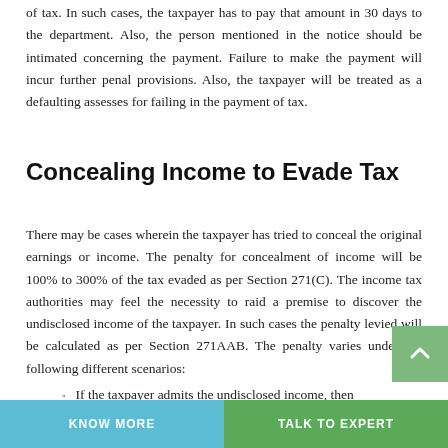of tax. In such cases, the taxpayer has to pay that amount in 30 days to the department. Also, the person mentioned in the notice should be intimated concerning the payment. Failure to make the payment will incur further penal provisions. Also, the taxpayer will be treated as a defaulting assesses for failing in the payment of tax.
Concealing Income to Evade Tax
There may be cases wherein the taxpayer has tried to conceal the original earnings or income. The penalty for concealment of income will be 100% to 300% of the tax evaded as per Section 271(C). The income tax authorities may feel the necessity to raid a premise to discover the undisclosed income of the taxpayer. In such cases the penalty levied will be calculated as per Section 271AAB. The penalty varies under the following different scenarios:
If the taxpayer admits the undisclosed income, then
KNOW MORE    TALK TO EXPERT